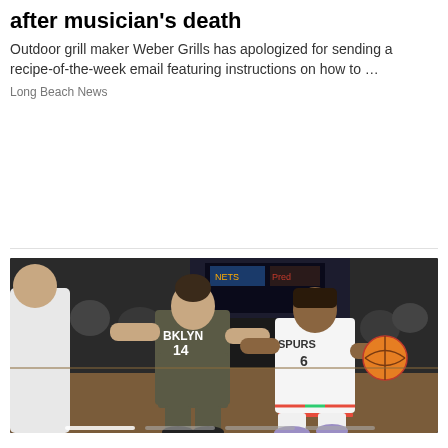after musician's death
Outdoor grill maker Weber Grills has apologized for sending a recipe-of-the-week email featuring instructions on how to …
Long Beach News
[Figure (photo): NBA basketball game action photo showing a San Antonio Spurs player wearing jersey number 6 dribbling the ball while being defended by a Brooklyn Nets player wearing jersey number 14 with BKLYN on the uniform, in an indoor arena with crowd in the background]